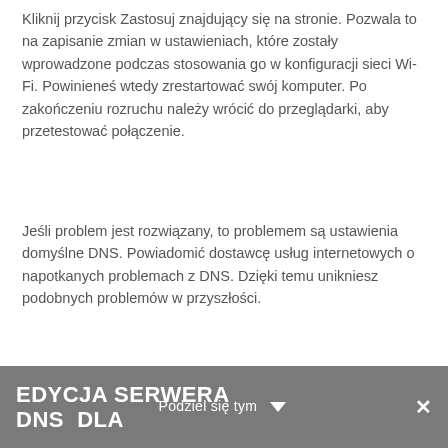Kliknij przycisk Zastosuj znajdujący się na stronie. Pozwala to na zapisanie zmian w ustawieniach, które zostały wprowadzone podczas stosowania go w konfiguracji sieci Wi-Fi. Powinieneś wtedy zrestartować swój komputer. Po zakończeniu rozruchu należy wrócić do przeglądarki, aby przetestować połączenie.
Jeśli problem jest rozwiązany, to problemem są ustawienia domyślne DNS. Powiadomić dostawcę usług internetowych o napotkanych problemach z DNS. Dzięki temu unikniesz podobnych problemów w przyszłości.
Edycja serwera DNS dla
Podziel się tym